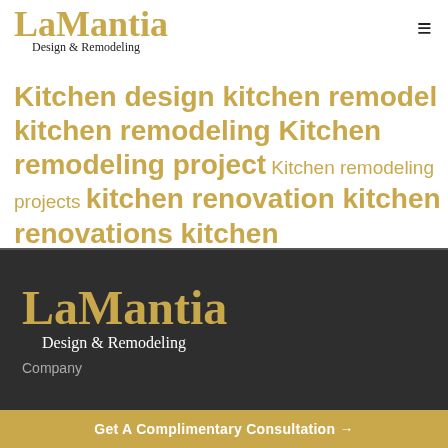LaMantia Design & Remodeling
Kitchen design kitchen remodel kitchen remodeling Kitchen remodeling project Kitchen remodeling projects kitchen renovation kitchen renovations kitchen transformation resale value
[Figure (logo): LaMantia Design & Remodeling logo on dark background with Company label]
Get A Complimentary Consultation →